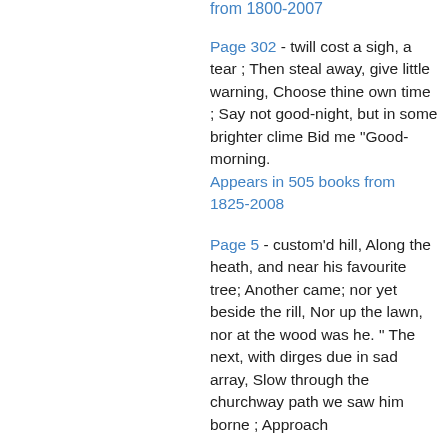from 1800-2007
Page 302 - twill cost a sigh, a tear ; Then steal away, give little warning, Choose thine own time ; Say not good-night, but in some brighter clime Bid me "Good-morning.
Appears in 505 books from 1825-2008
Page 5 - custom'd hill, Along the heath, and near his favourite tree; Another came; nor yet beside the rill, Nor up the lawn, nor at the wood was he. " The next, with dirges due in sad array, Slow through the churchway path we saw him borne ; Approach